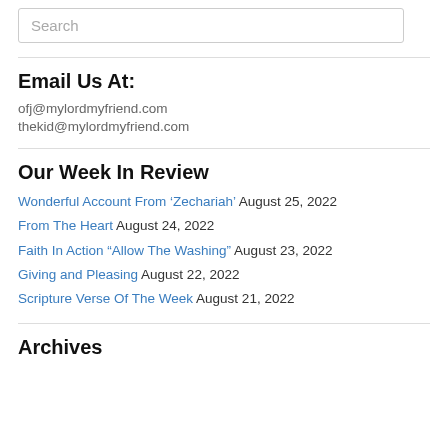Search
Email Us At:
ofj@mylordmyfriend.com
thekid@mylordmyfriend.com
Our Week In Review
Wonderful Account From ‘Zechariah’ August 25, 2022
From The Heart August 24, 2022
Faith In Action “Allow The Washing” August 23, 2022
Giving and Pleasing August 22, 2022
Scripture Verse Of The Week August 21, 2022
Archives